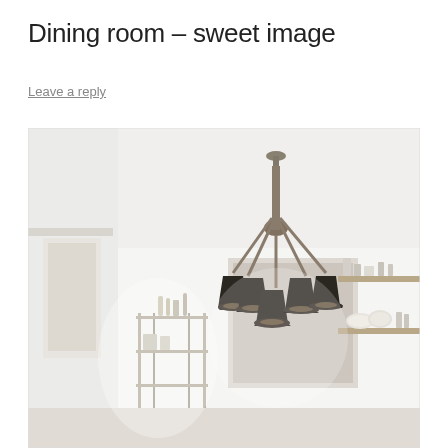Dining room – sweet image
Leave a reply
[Figure (photo): Interior dining room photo showing a modern black multi-arm chandelier hanging from a white ceiling. Below is a marble or stone dining table. To the left is a metal wire shelving unit with kitchen items. To the right are wooden open shelves with dishes and glasses. A bright window is visible in the background.]